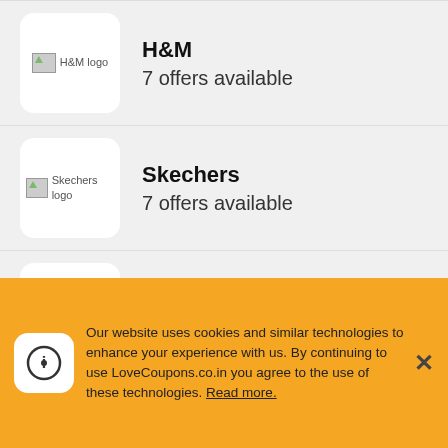H&M — 7 offers available
Skechers — 7 offers available
Interflora — 2 offers available
LottoLand — 5 offers available
Our website uses cookies and similar technologies to enhance your experience with us. By continuing to use LoveCoupons.co.in you agree to the use of these technologies. Read more.